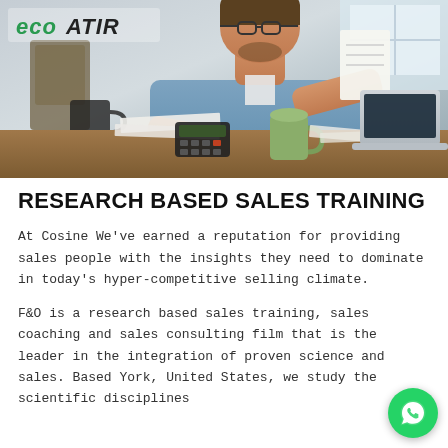[Figure (photo): A man in a blue shirt wearing glasses, sitting at a desk, reviewing documents and using a calculator with a laptop nearby. A green mug is visible on the desk. The eco ATIR logo appears in the top left corner.]
RESEARCH BASED SALES TRAINING
At Cosine We've earned a reputation for providing sales people with the insights they need to dominate in today's hyper-competitive selling climate.
F&O is a research based sales training, sales coaching and sales consulting film that is the leader in the integration of proven science and sales. Based York, United States, we study the scientific disciplines